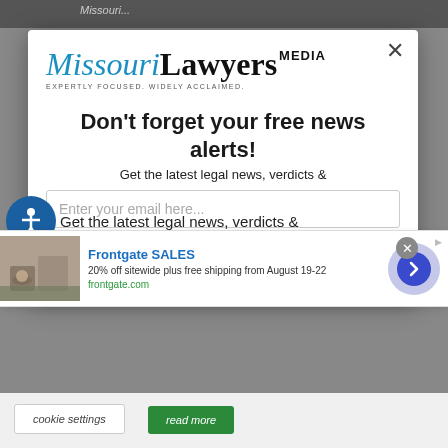[Figure (screenshot): Background webpage with gray top navigation bar, Missouri Lawyers Media modal popup dialog, and ad overlay. The modal shows the Missouri Lawyers Media logo, a headline 'Don't forget your free news alerts!', a subtext about latest legal news, verdicts, an email input field, and a 'SIGN UP FOR FREE' blue button. An advertisement overlay for 'Frontgate SALES' appears across the lower portion showing 20% off sitewide plus free shipping from August 19-22.]
Missouri Lawyers MEDIA — EXPERTLY FOCUSED. WIDELY ACCLAIMED.
Don't forget your free news alerts!
Get the latest legal news, verdicts &
Enter your email here...
SIGN UP FOR FREE
Frontgate SALES
20% off sitewide plus free shipping from August 19-22
frontgate.com